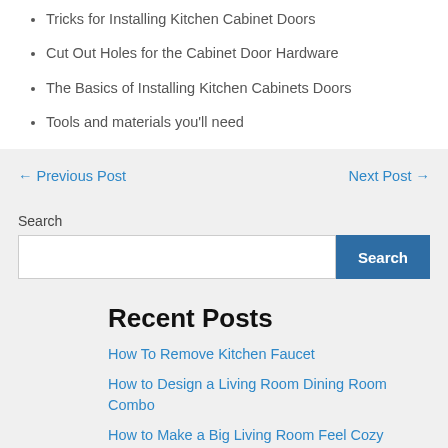Tricks for Installing Kitchen Cabinet Doors
Cut Out Holes for the Cabinet Door Hardware
The Basics of Installing Kitchen Cabinets Doors
Tools and materials you'll need
← Previous Post
Next Post →
Search
Recent Posts
How To Remove Kitchen Faucet
How to Design a Living Room Dining Room Combo
How to Make a Big Living Room Feel Cozy